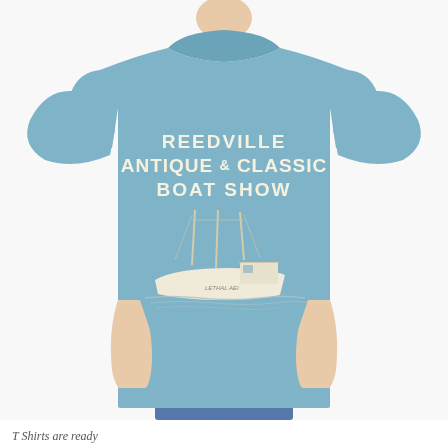[Figure (photo): A person wearing a steel blue t-shirt showing the back, which has printed text 'REEDVILLE ANTIQUE & CLASSIC BOAT SHOW' and an illustration of a classic fishing/work boat on water. The person is photographed from behind against a white background.]
T Shirts are ready